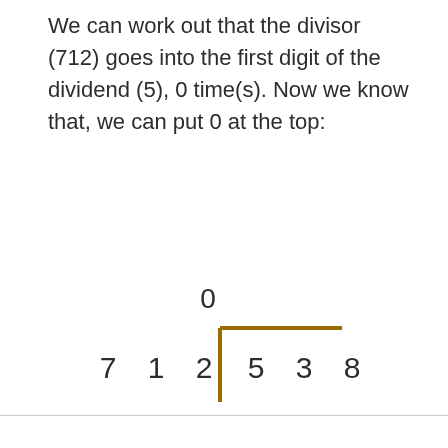We can work out that the divisor (712) goes into the first digit of the dividend (5), 0 time(s). Now we know that, we can put 0 at the top:
[Figure (other): Long division diagram showing 712 dividing 538 with quotient 0 at the top. The divisor 7 1 2 is on the left, and the dividend 5 3 8 is inside the division bracket. A 0 appears above the bracket line over the first digit.]